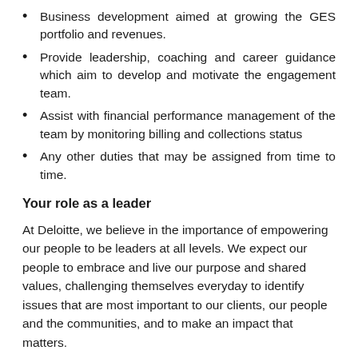Business development aimed at growing the GES portfolio and revenues.
Provide leadership, coaching and career guidance which aim to develop and motivate the engagement team.
Assist with financial performance management of the team by monitoring billing and collections status
Any other duties that may be assigned from time to time.
Your role as a leader
At Deloitte, we believe in the importance of empowering our people to be leaders at all levels. We expect our people to embrace and live our purpose and shared values, challenging themselves everyday to identify issues that are most important to our clients, our people and the communities, and to make an impact that matters.